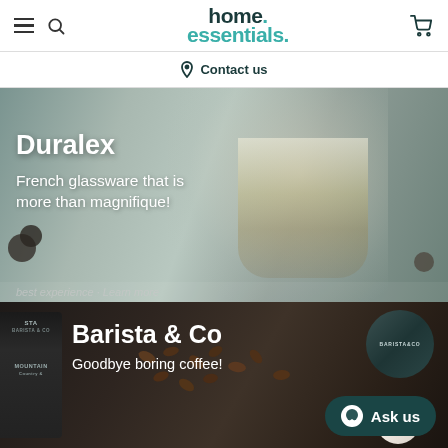home essentials.
Contact us
[Figure (photo): Duralex banner: a glass dessert cup layered with cream, blueberries and yellow curd on a grey background. Text overlay reads 'Duralex - French glassware that is more than magnifique!']
[Figure (photo): Barista & Co banner: dark background with coffee beans, a coffee bag and Barista&Co branded tins. Text overlay reads 'Barista & Co - Goodbye boring coffee!' with an Ask us chat button.]